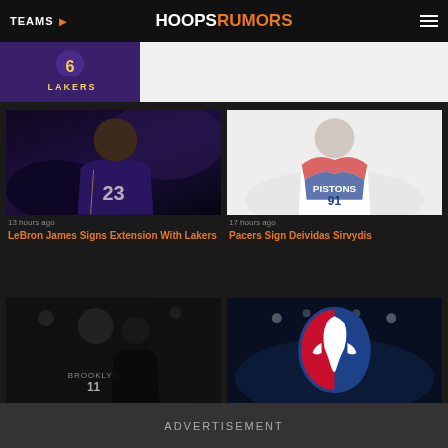TEAMS | HOOPSRUMORS
[Figure (photo): LeBron James in Lakers purple uniform, number 6, close-up action shot]
13 hours ago
LeBron James Signs Extension With Lakers
[Figure (photo): Deividas Sirvydis in Pistons white uniform, number 91]
17 hours ago
Pacers Sign Deividas Sirvydis
[Figure (photo): Kyrie Irving in Brooklyn Nets black uniform, number 11]
[Figure (photo): NBA logo on arena scoreboard]
ADVERTISEMENT